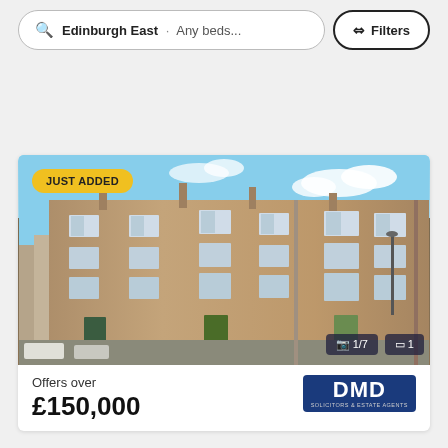Edinburgh East · Any beds...
Filters
[Figure (photo): Exterior photo of a Victorian sandstone tenement building in Edinburgh East. Blue sky with clouds visible. JUST ADDED badge in yellow at top-left. Photo counter showing 1/7 and floorplan counter showing 1 at bottom-right.]
JUST ADDED
1/7
1
Offers over
£150,000